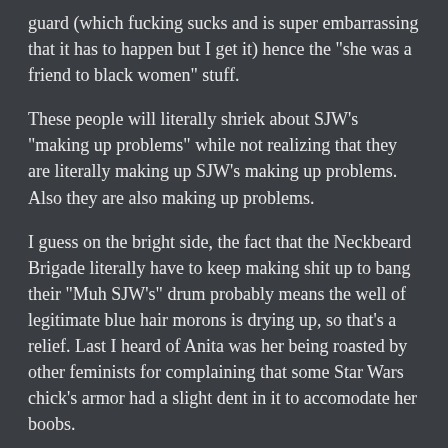guard (which fucking sucks and is super embarrassing that it has to happen but I get it) hence the "she was a friend to black women" stuff.
These people will literally shriek about SJW's "making up problems" while not realizing that they are literally making up SJW's making up problems. Also they are also making up problems.
I guess on the bright side, the fact that the Neckbeard Brigade literally have to keep making shit up to bang their "Muh SJW's" drum probably means the well of legitimate blue hair morons is drying up, so that's a relief. Last I heard of Anita was her being roasted by other feminists for complaining that some Star Wars chick's armor had a slight dent in it to accomodate her boobs.
But unfortunately we now have that same behavior coming from the "the watch" So how do we with th...